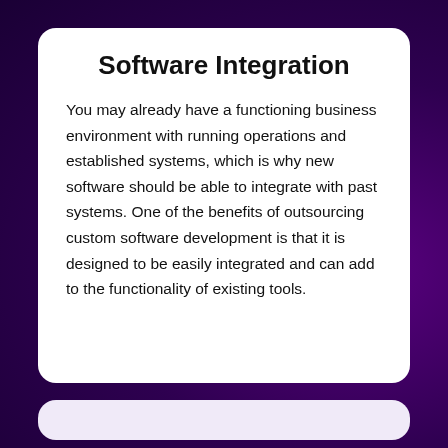Software Integration
You may already have a functioning business environment with running operations and established systems, which is why new software should be able to integrate with past systems. One of the benefits of outsourcing custom software development is that it is designed to be easily integrated and can add to the functionality of existing tools.